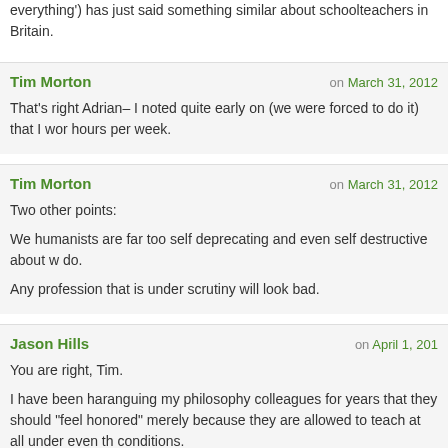everything') has just said something similar about schoolteachers in Britain.
Tim Morton on March 31, 2012
That's right Adrian– I noted quite early on (we were forced to do it) that I work hours per week.
Tim Morton on March 31, 2012
Two other points:
We humanists are far too self deprecating and even self destructive about what we do.
Any profession that is under scrutiny will look bad.
Jason Hills on April 1, 201
You are right, Tim.
I have been haranguing my philosophy colleagues for years that they should "feel honored" merely because they are allowed to teach at all under even the conditions.